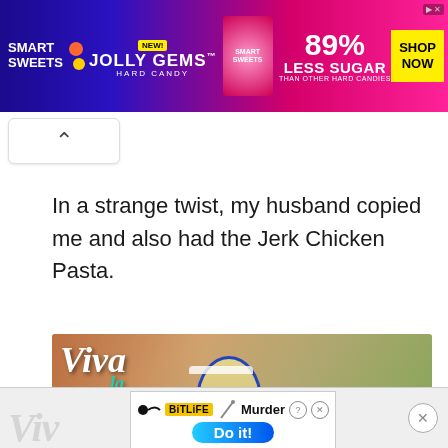[Figure (photo): SmartSweets Jolly Gems Hard Candy advertisement banner: 89% Less Sugar than other hard candies, Shop Now button, yellow background box]
In a strange twist, my husband copied me and also had the Jerk Chicken Pasta.
[Figure (photo): Viva la 'Rita advertisement showing two women drinking margaritas with blue-rimmed salt glasses]
[Figure (photo): BitLife advertisement: Murder - Do it! with blue gradient button]